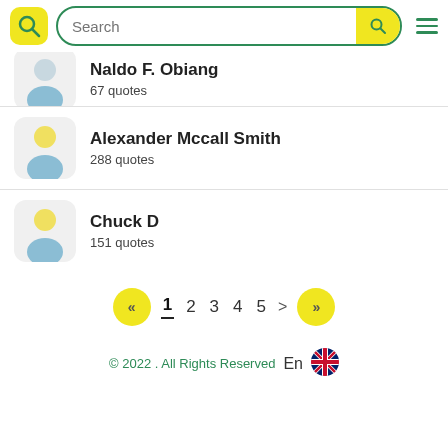Search
NaIdo F. Obiang
67 quotes
Alexander Mccall Smith
288 quotes
Chuck D
151 quotes
Pagination: << 1 2 3 4 5 > >>
© 2022 . All Rights Reserved  En